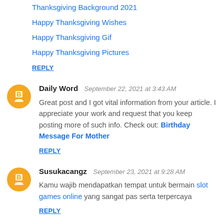Thanksgiving Background 2021
Happy Thanksgiving Wishes
Happy Thanksgiving Gif
Happy Thanksgiving Pictures
REPLY
Daily Word  September 22, 2021 at 3:43 AM
Great post and I got vital information from your article. I appreciate your work and request that you keep posting more of such info. Check out: Birthday Message For Mother
REPLY
Susukacangz  September 23, 2021 at 9:28 AM
Kamu wajib mendapatkan tempat untuk bermain slot games online yang sangat pas serta terpercaya
REPLY
ninja hatori  September 23, 2021 at 5:14 PM